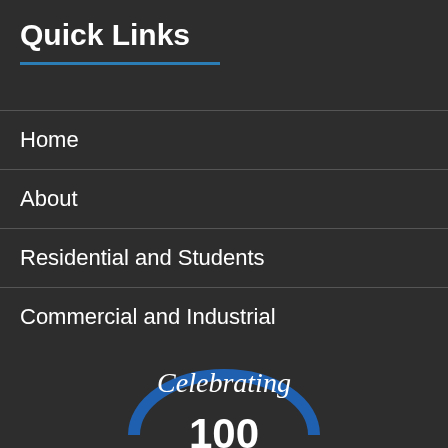Quick Links
Home
About
Residential and Students
Commercial and Industrial
[Figure (logo): Celebrating 100 anniversary logo with script text and blue arc]